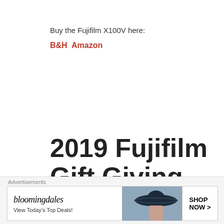Buy the Fujifilm X100V here:
B&H Amazon
2019 Fujifilm Gift Giving Guide
November 30, 2019 by Ritchie Roesch
Advertisements
[Figure (other): Bloomingdale's advertisement banner: 'bloomingdales / View Today's Top Deals!' with a woman in a wide-brim hat and a 'SHOP NOW >' button]